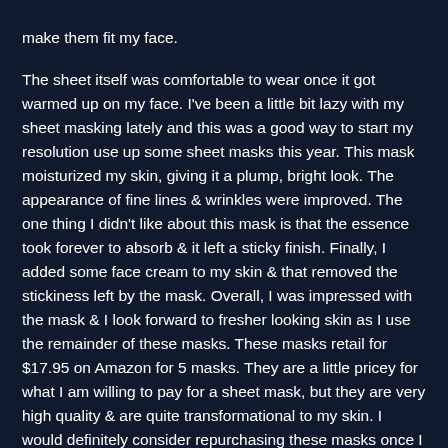make them fit my face.

The sheet itself was comfortable to wear once it got warmed up on my face. I've been a little bit lazy with my sheet masking lately and this was a good way to start my resolution use up some sheet masks this year. This mask moisturized my skin, giving it a plump, bright look. The appearance of fine lines & wrinkles were improved. The one thing I didn't like about this mask is that the essence took forever to absorb & it left a sticky finish. Finally, I added some face cream to my skin & that removed the stickiness left by the mask. Overall, I was impressed with the mask & I look forward to fresher looking skin as I use the remainder of these masks. These masks retail for $17.95 on Amazon for 5 masks. They are a little pricey for what I am willing to pay for a sheet mask, but they are very high quality & are quite transformational to my skin. I would definitely consider repurchasing these masks once I have used up some of my stash.